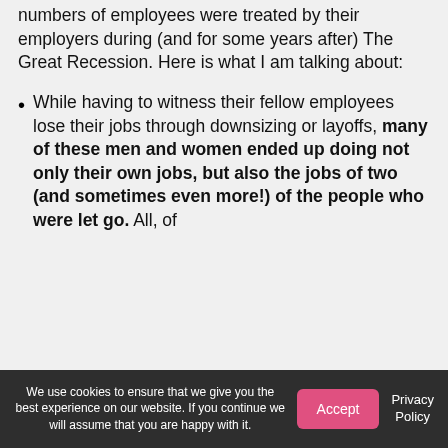numbers of employees were treated by their employers during (and for some years after) The Great Recession. Here is what I am talking about:
While having to witness their fellow employees lose their jobs through downsizing or layoffs, many of these men and women ended up doing not only their own jobs, but also the jobs of two (and sometimes even more!) of the people who were let go. All, of
We use cookies to ensure that we give you the best experience on our website. If you continue we will assume that you are happy with it.